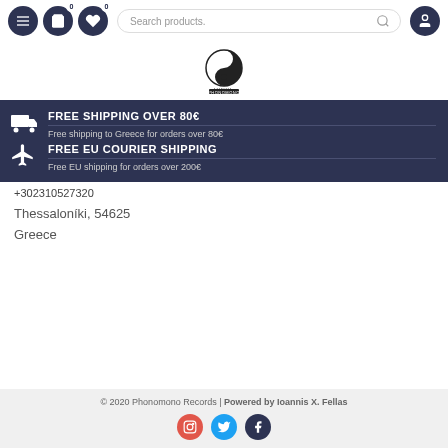Navigation bar with menu, cart (0), wishlist (0), search box, and user icon
[Figure (logo): Vinyl Phonomono Records yin-yang logo]
FREE SHIPPING OVER 80€
Free shipping to Greece for orders over 80€
FREE EU COURIER SHIPPING
Free EU shipping for orders over 200€
+302310527520
Thessaloníki, 54625
Greece
© 2020 Phonomono Records | Powered by Ioannis X. Fellas